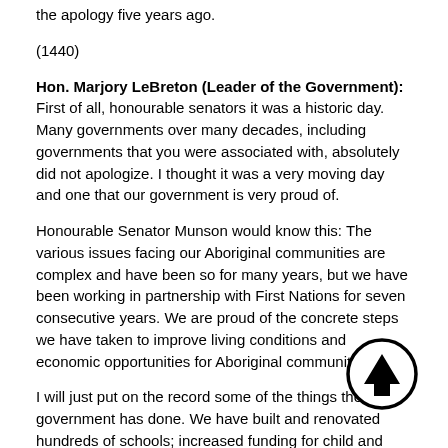the apology five years ago.
(1440)
Hon. Marjory LeBreton (Leader of the Government): First of all, honourable senators it was a historic day. Many governments over many decades, including governments that you were associated with, absolutely did not apologize. I thought it was a very moving day and one that our government is very proud of.
Honourable Senator Munson would know this: The various issues facing our Aboriginal communities are complex and have been so for many years, but we have been working in partnership with First Nations for seven consecutive years. We are proud of the concrete steps we have taken to improve living conditions and economic opportunities for Aboriginal communities.
I will just put on the record some of the things the government has done. We have built and renovated hundreds of schools; increased funding for child and family services; settled over 80 outstanding land claims; built over 10,000 homes and renovated thousands more; invested in safe drinking water; and invested in other projects that are linking Aboriginals across Canada with job training, counselling services and mentorship programs.
Economic Action Plan 2013, which we have before us,
[Figure (illustration): A circular navigation arrow button pointing upward, black outline with black arrow on white background, positioned in the lower right area of the page.]